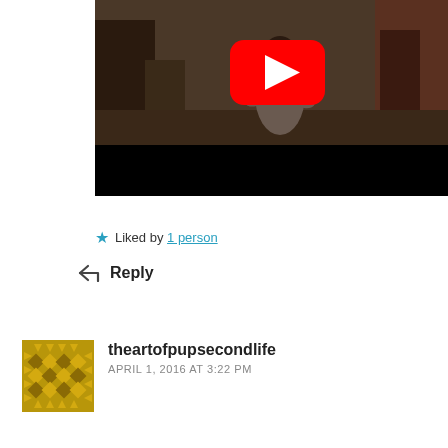[Figure (screenshot): YouTube video thumbnail showing a woman in a room with chairs, with a YouTube play button overlay, and a black bar at the bottom]
★ Liked by 1 person
↩ Reply
theartofpupsecondlife
APRIL 1, 2016 AT 3:22 PM